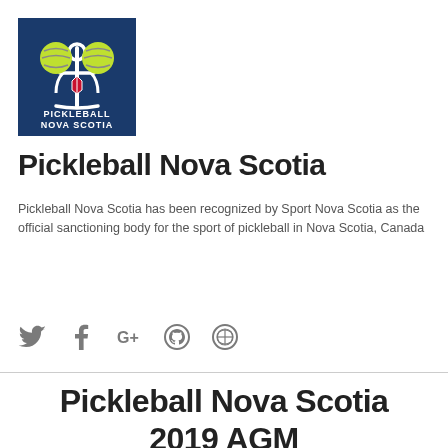[Figure (logo): Pickleball Nova Scotia logo — dark blue background with anchor and yellow/green pickleball graphics, text 'PICKLEBALL NOVA SCOTIA' below]
Pickleball Nova Scotia
Pickleball Nova Scotia has been recognized by Sport Nova Scotia as the official sanctioning body for the sport of pickleball in Nova Scotia, Canada
Menu +
[Figure (infographic): Social media icons: Twitter, Facebook, Google+, GitHub, WordPress]
Pickleball Nova Scotia 2019 AGM